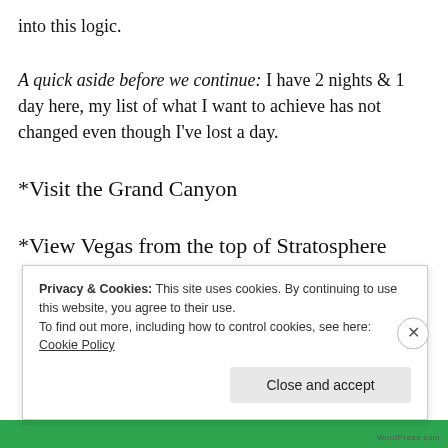into this logic.
A quick aside before we continue: I have 2 nights & 1 day here, my list of what I want to achieve has not changed even though I've lost a day.
*Visit the Grand Canyon
*View Vegas from the top of Stratosphere
Privacy & Cookies: This site uses cookies. By continuing to use this website, you agree to their use.
To find out more, including how to control cookies, see here: Cookie Policy
Close and accept